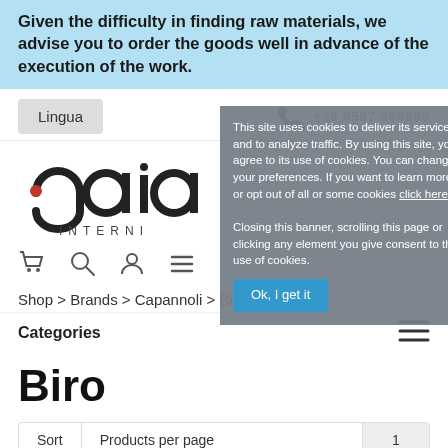Given the difficulty in finding raw materials, we advise you to order the goods well in advance of the execution of the work.
Lingua
[Figure (logo): Gaia Interni logo — stylized lowercase 'gaia' with a red dot above the 'g', and 'INTERNI' below in spaced capitals]
This site uses cookies to deliver its services and to analyze traffic. By using this site, you agree to its use of cookies. You can change your preferences. If you want to learn more or opt out of all or some cookies click here. Closing this banner, scrolling this page or clicking any element you give consent to the use of cookies.
Ok, I get it
Shop > Brands > Capannoli > Biro
Categories
Biro
Sort   Products per page   1